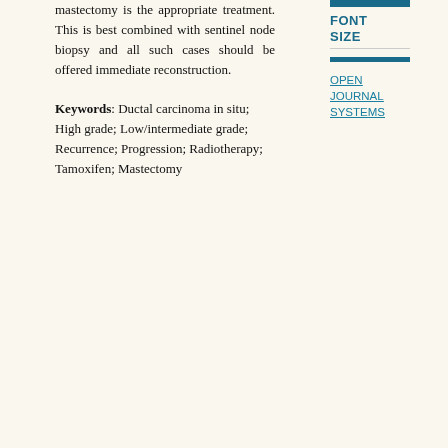mastectomy is the appropriate treatment. This is best combined with sentinel node biopsy and all such cases should be offered immediate reconstruction.
Keywords: Ductal carcinoma in situ; High grade; Low/intermediate grade; Recurrence; Progression; Radiotherapy; Tamoxifen; Mastectomy
FONT SIZE
OPEN JOURNAL SYSTEMS